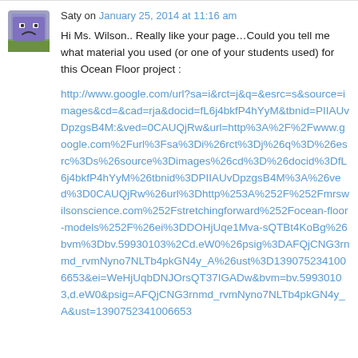[Figure (illustration): Purple pixel-art avatar icon of a character with a frowning expression]
Saty on January 25, 2014 at 11:16 am
Hi Ms. Wilson.. Really like your page…Could you tell me what material you used (or one of your students used) for this Ocean Floor project :
http://www.google.com/url?sa=i&rct=j&q=&esrc=s&source=images&cd=&cad=rja&docid=fL6j4bkfP4hYyM&tbnid=PIIAUvDpzgsB4M:&ved=0CAUQjRw&url=http%3A%2F%2Fwww.google.com%2Furl%3Fsa%3Di%26rct%3Dj%26q%3D%26esrc%3Ds%26source%3Dimages%26cd%3D%26docid%3DfL6j4bkfP4hYyM%26tbnid%3DPIIAUvDpzgsB4M%3A%26ved%3D0CAUQjRw%26url%3Dhttp%253A%252F%252Fmrswilsonscience.com%252Fstretchingforward%252Focean-floor-models%252F%26ei%3DDOHjUqe1Mva-sQTBt4KoBg%26bvm%3Dbv.59930103%2Cd.eW0%26psig%3DAFQjCNG3rnmd_rvmNyno7NLTb4pkGN4y_A%26ust%3D1390752341006653&ei=WeHjUqbDNJOrsQT37IGADw&bvm=bv.59930103,d.eW0&psig=AFQjCNG3rnmd_rvmNyno7NLTb4pkGN4y_A&ust=1390752341006653